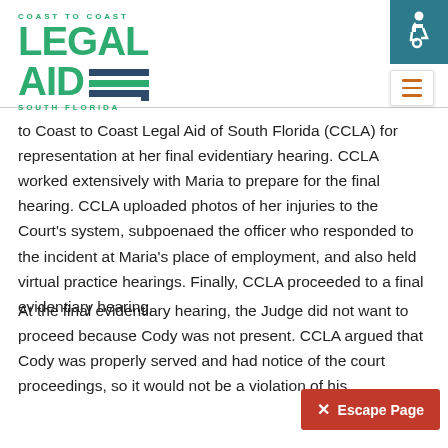[Figure (logo): Coast to Coast Legal Aid of South Florida logo in green with horizontal stripes]
to Coast to Coast Legal Aid of South Florida (CCLA) for representation at her final evidentiary hearing. CCLA worked extensively with Maria to prepare for the final hearing. CCLA uploaded photos of her injuries to the Court's system, subpoenaed the officer who responded to the incident at Maria's place of employment, and also held virtual practice hearings. Finally, CCLA proceeded to a final evidentiary hearing.
At the final evidentiary hearing, the Judge did not want to proceed because Cody was not present. CCLA argued that Cody was properly served and had notice of the court proceedings, so it would not be a violation of his